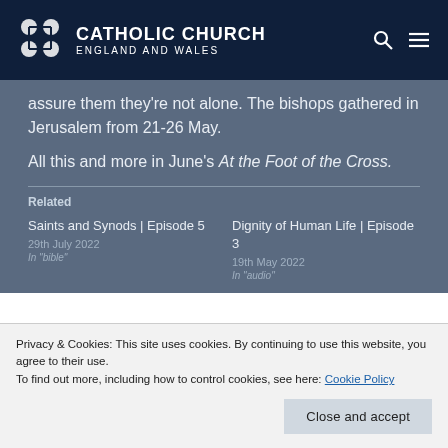CATHOLIC CHURCH ENGLAND AND WALES
assure them they’re not alone. The bishops gathered in Jerusalem from 21-26 May.
All this and more in June’s At the Foot of the Cross.
Related
Saints and Synods | Episode 5
29th July 2022
"bible"
Dignity of Human Life | Episode 3
19th May 2022
"audio"
Privacy & Cookies: This site uses cookies. By continuing to use this website, you agree to their use.
To find out more, including how to control cookies, see here: Cookie Policy
Close and accept